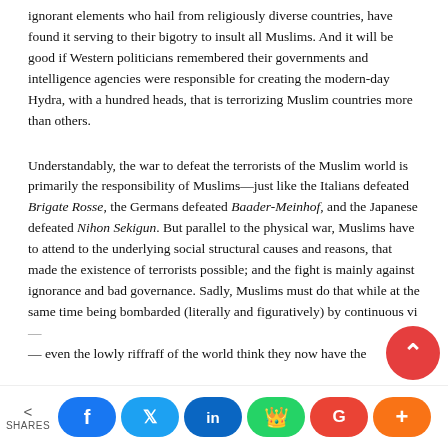ignorant elements who hail from religiously diverse countries, have found it serving to their bigotry to insult all Muslims. And it will be good if Western politicians remembered their governments and intelligence agencies were responsible for creating the modern-day Hydra, with a hundred heads, that is terrorizing Muslim countries more than others.
Understandably, the war to defeat the terrorists of the Muslim world is primarily the responsibility of Muslims—just like the Italians defeated Brigate Rosse, the Germans defeated Baader-Meinhof, and the Japanese defeated Nihon Sekigun. But parallel to the physical war, Muslims have to attend to the underlying social structural causes and reasons, that made the existence of terrorists possible; and the fight is mainly against ignorance and bad governance. Sadly, Muslims must do that while at the same time being bombarded (literally and figuratively) by continuous vi... — even the lowly riffraff of the world think they now have the...